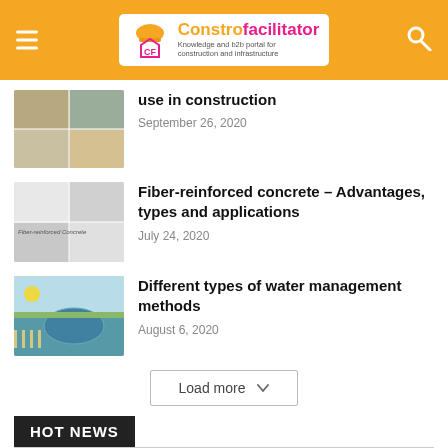Constrofacilitator – Knowledge and b2b portal for construction and infrastructure
use in construction
September 26, 2020
Fiber-reinforced concrete – Advantages, types and applications
July 24, 2020
Different types of water management methods
August 6, 2020
Load more
HOT NEWS
[Figure (photo): Two thumbnail images at bottom of page showing construction/infrastructure related photos]